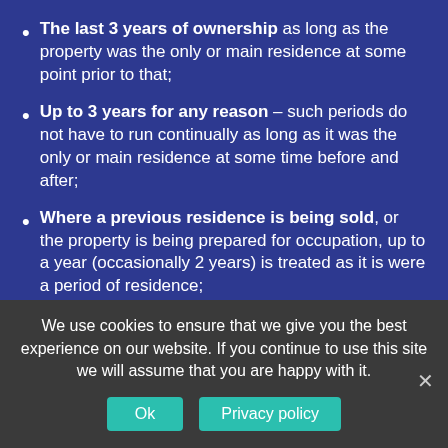The last 3 years of ownership as long as the property was the only or main residence at some point prior to that;
Up to 3 years for any reason – such periods do not have to run continually as long as it was the only or main residence at some time before and after;
Where a previous residence is being sold, or the property is being prepared for occupation, up to a year (occasionally 2 years) is treated as it is were a period of residence;
Up to 4 years where the duties of a United Kingdom employment require the individual to work elsewhere, again as long as it was the
We use cookies to ensure that we give you the best experience on our website. If you continue to use this site we will assume that you are happy with it.